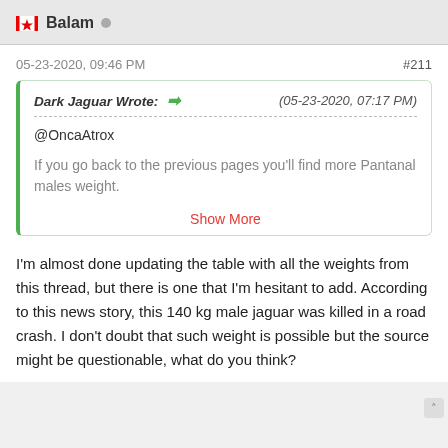Balam
05-23-2020, 09:46 PM   #211
Dark Jaguar Wrote: (05-23-2020, 07:17 PM)
@OncaAtrox

If you go back to the previous pages you'll find more Pantanal males weight.
Show More
I'm almost done updating the table with all the weights from this thread, but there is one that I'm hesitant to add. According to this news story, this 140 kg male jaguar was killed in a road crash. I don't doubt that such weight is possible but the source might be questionable, what do you think?